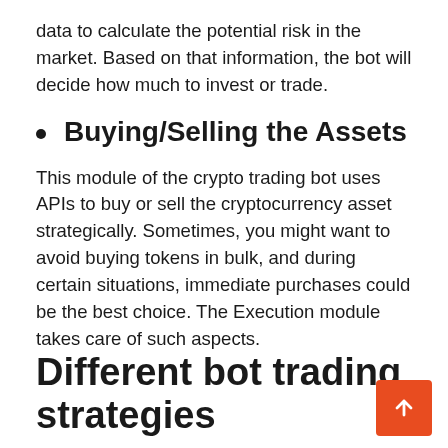data to calculate the potential risk in the market. Based on that information, the bot will decide how much to invest or trade.
Buying/Selling the Assets
This module of the crypto trading bot uses APIs to buy or sell the cryptocurrency asset strategically. Sometimes, you might want to avoid buying tokens in bulk, and during certain situations, immediate purchases could be the best choice. The Execution module takes care of such aspects.
Different bot trading strategies